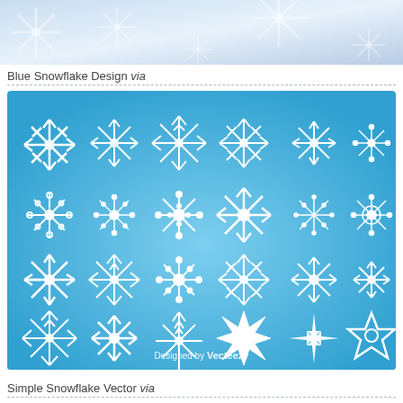[Figure (illustration): Blue snowflake photo banner at the top of the page showing crystalline snowflake shapes on a light blue-white background.]
Blue Snowflake Design via
[Figure (illustration): Blue Snowflake Design vector art sheet showing 24 white snowflake icons arranged in 4 rows of 6 on a sky-blue gradient background, with 'Designed by Vecteezy' text at the bottom.]
Simple Snowflake Vector via